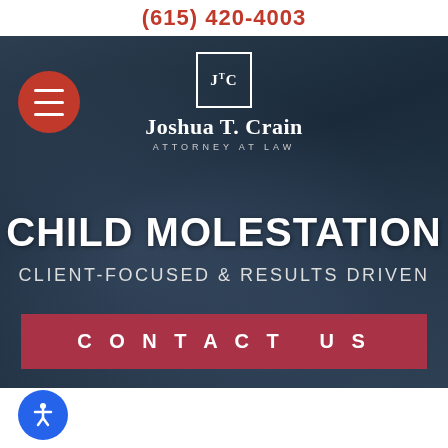(615) 420-4003
[Figure (logo): Joshua T. Crain Attorney at Law logo with JTC in a box, hamburger menu button]
CHILD MOLESTATION
CLIENT-FOCUSED & RESULTS DRIVEN
CONTACT US